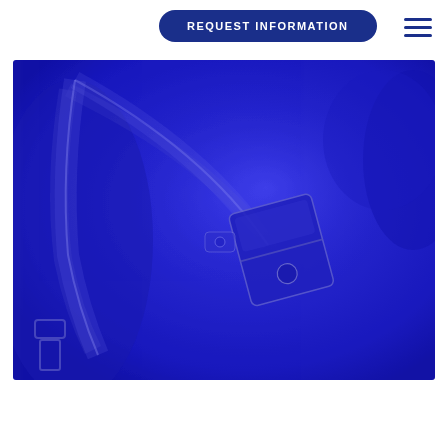REQUEST INFORMATION
[Figure (photo): Blue-tinted photograph overlaid with a deep blue color filter showing a seatbelt and buckle, used as a hero/banner image for an insurance or automotive safety information page.]